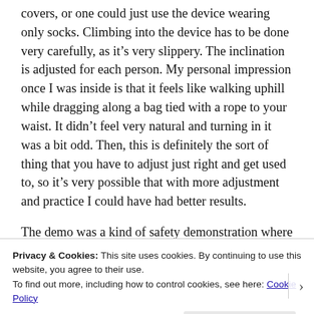covers, or one could just use the device wearing only socks. Climbing into the device has to be done very carefully, as it's very slippery. The inclination is adjusted for each person. My personal impression once I was inside is that it feels like walking uphill while dragging along a bag tied with a rope to your waist. It didn't feel very natural and turning in it was a bit odd. Then, this is definitely the sort of thing that you have to adjust just right and get used to, so it's very possible that with more adjustment and practice I could have had better results.
The demo was a kind of safety demonstration where
Privacy & Cookies: This site uses cookies. By continuing to use this website, you agree to their use.
To find out more, including how to control cookies, see here: Cookie Policy
Close and accept